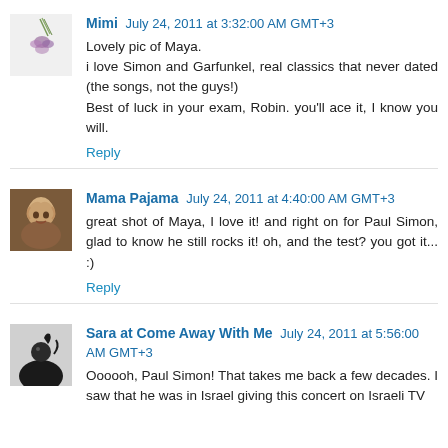Mimi July 24, 2011 at 3:32:00 AM GMT+3
Lovely pic of Maya.
i love Simon and Garfunkel, real classics that never dated (the songs, not the guys!)
Best of luck in your exam, Robin. you'll ace it, I know you will.
Reply
Mama Pajama July 24, 2011 at 4:40:00 AM GMT+3
great shot of Maya, I love it! and right on for Paul Simon, glad to know he still rocks it! oh, and the test? you got it... :)
Reply
Sara at Come Away With Me July 24, 2011 at 5:56:00 AM GMT+3
Oooooh, Paul Simon! That takes me back a few decades. I saw that he was in Israel giving this concert on Israeli TV